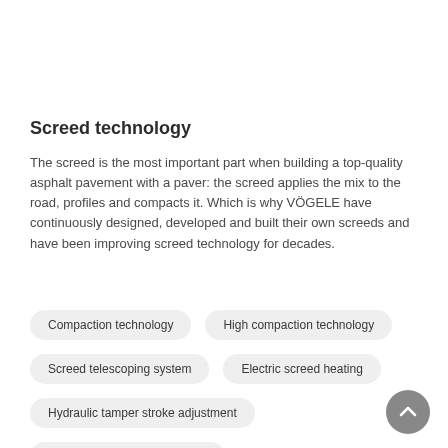Screed technology
The screed is the most important part when building a top-quality asphalt pavement with a paver: the screed applies the mix to the road, profiles and compacts it. Which is why VÖGELE have continuously designed, developed and built their own screeds and have been improving screed technology for decades.
Compaction technology
High compaction technology
Screed telescoping system
Electric screed heating
Hydraulic tamper stroke adjustment
Screed production technology